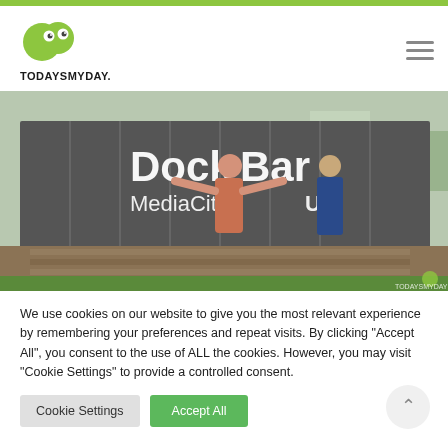[Figure (logo): TodaysMyDay logo — green heart/speech bubble icon with text TODAYSMYDAY. below]
[Figure (photo): Couple posing in front of DockBar MediaCityUK shipping container venue. Woman in floral dress with arms outstretched, man in blue suit. Outdoor setting with greenery.]
We use cookies on our website to give you the most relevant experience by remembering your preferences and repeat visits. By clicking "Accept All", you consent to the use of ALL the cookies. However, you may visit "Cookie Settings" to provide a controlled consent.